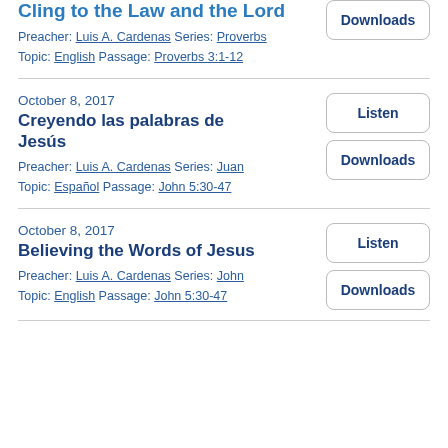Cling to the Law and the Lord
Preacher: Luis A. Cardenas Series: Proverbs
Topic: English Passage: Proverbs 3:1-12
October 8, 2017
Creyendo las palabras de Jesús
Preacher: Luis A. Cardenas Series: Juan
Topic: Español Passage: John 5:30-47
October 8, 2017
Believing the Words of Jesus
Preacher: Luis A. Cardenas Series: John
Topic: English Passage: John 5:30-47